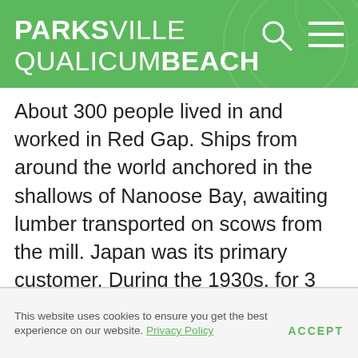PARKSVILLE QUALICUMBEACH
About 300 people lived in and worked in Red Gap. Ships from around the world anchored in the shallows of Nanoose Bay, awaiting lumber transported on scows from the mill. Japan was its primary customer. During the 1930s, for 3 years at the peak of its operations, the Straits was the biggest mill in the Pacific Northwest. However, when Japan attacked Pearl Harbour in 1941, the mill lost its best
This website uses cookies to ensure you get the best experience on our website. Privacy Policy  ACCEPT